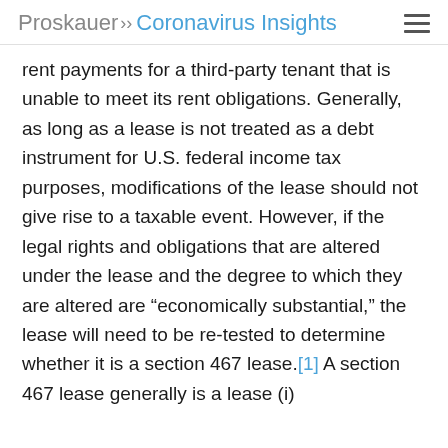Proskauer >> Coronavirus Insights
rent payments for a third-party tenant that is unable to meet its rent obligations. Generally, as long as a lease is not treated as a debt instrument for U.S. federal income tax purposes, modifications of the lease should not give rise to a taxable event. However, if the legal rights and obligations that are altered under the lease and the degree to which they are altered are “economically substantial,” the lease will need to be re-tested to determine whether it is a section 467 lease.[1] A section 467 lease generally is a lease (i)